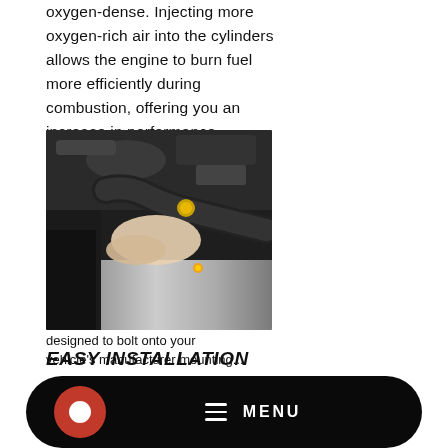oxygen-dense. Injecting more oxygen-rich air into the cylinders allows the engine to burn fuel more efficiently during combustion, offering you an increase in performance.
[Figure (photo): A person installing a cold air intake component (black tube with gold logo) into a car engine bay, showing hands working near a silver heat shield panel.]
EASY INSTALLATION
designed to bolt onto your vehicle's manufacturer mounting...